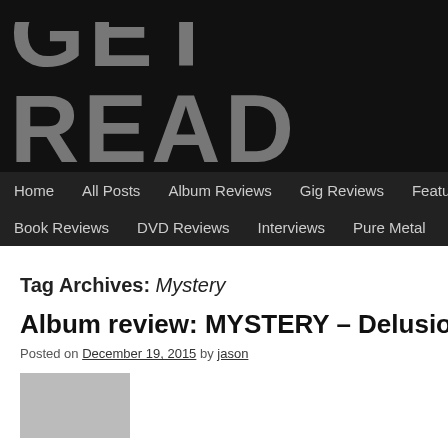[Figure (logo): GET READ... website logo banner with large distressed text and NEWS - REVIEWS subtitle on black background]
Home | All Posts | Album Reviews | Gig Reviews | Featur... | Book Reviews | DVD Reviews | Interviews | Pure Metal
Tag Archives: Mystery
Album review: MYSTERY – Delusion Rain...
Posted on December 19, 2015 by jason